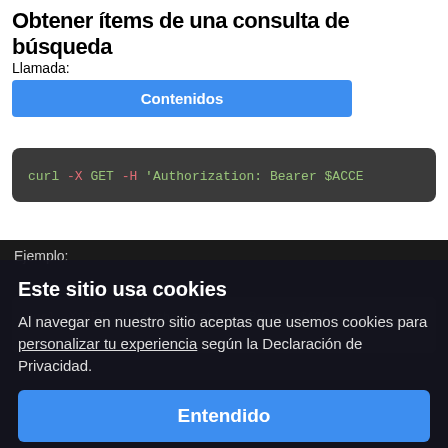Obtener ítems de una consulta de búsqueda
Llamada:
Contenidos
curl -X GET -H 'Authorization: Bearer $ACCE
Ejemplo:
Este sitio usa cookies
Al navegar en nuestro sitio aceptas que usemos cookies para personalizar tu experiencia según la Declaración de Privacidad.
Entendido
Configurar cookies